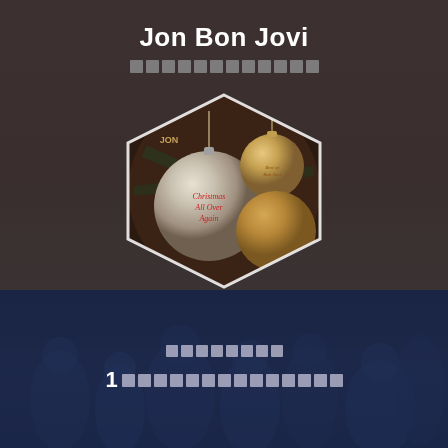Jon Bon Jovi
▯▯▯▯▯▯▯▯▯▯▯▯
[Figure (photo): Hexagon-shaped album art showing Christmas ornament balls on a tree, for an album titled 'Christmas All Over Again' by Jon Bon Jovi]
AWA▯▯▯▯▯▯▯▯
▯▯▯▯▯▯▯▯
1▯▯▯▯▯▯▯▯▯▯▯▯▯▯